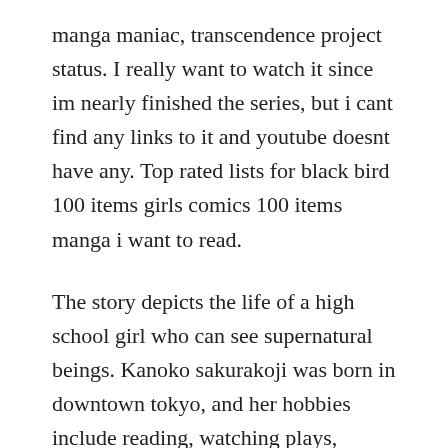manga maniac, transcendence project status. I really want to watch it since im nearly finished the series, but i cant find any links to it and youtube doesnt have any. Top rated lists for black bird 100 items girls comics 100 items manga i want to read.
The story depicts the life of a high school girl who can see supernatural beings. Kanoko sakurakoji was born in downtown tokyo, and her hobbies include reading, watching plays, traveling and shopping. Da vincis demons le invenzioni di leonardo sub ita. Ecco a voi il